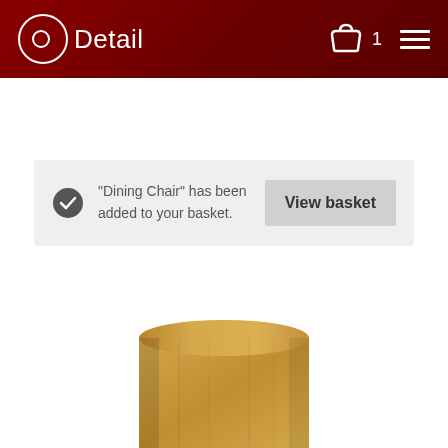Detail — navigation header with basket (1 item) and menu
“Dining Chair” has been added to your basket.
View basket
[Figure (photo): Product photo showing a wooden cylindrical chair leg or furniture component, light golden-brown wood color, cropped at the top with elliptical top surface visible]